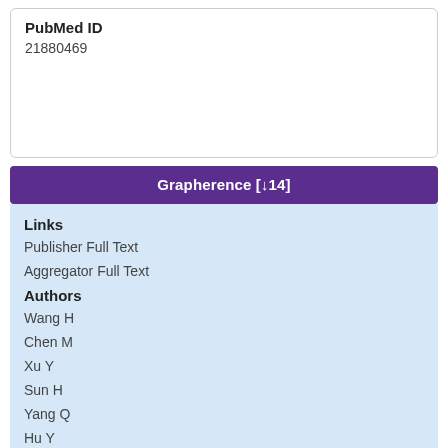PubMed ID
21880469
Grapherence [↓14]
Links
Publisher Full Text
Aggregator Full Text
Authors
Wang H
Chen M
Xu Y
Sun H
Yang Q
Hu Y
Cao B
Chu Y